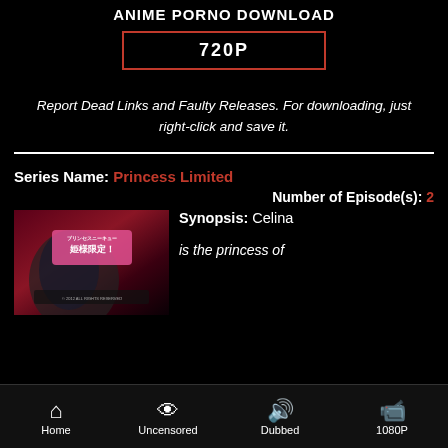ANIME PORNO DOWNLOAD
720P
Report Dead Links and Faulty Releases. For downloading, just right-click and save it.
Series Name: Princess Limited
Number of Episode(s): 2
[Figure (illustration): Anime cover art thumbnail for Princess Limited series]
Synopsis: Celina is the princess of
Home  Uncensored  Dubbed  1080P